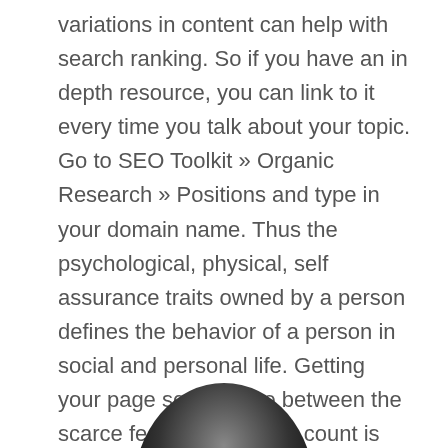variations in content can help with search ranking. So if you have an in depth resource, you can link to it every time you talk about your topic. Go to SEO Toolkit » Organic Research » Positions and type in your domain name. Thus the psychological, physical, self assurance traits owned by a person defines the behavior of a person in social and personal life. Getting your page somewhere between the scarce featured snippets count is the SEO winning edge you've been looking for all this time. The fact is, this SEO guide will lead you through what you need to get ranked. Image SEO is essential and often overlooked in a content optimization strategy.
[Figure (photo): Partial view of a dark/black rounded object (possibly a ball or helmet) visible at the bottom center of the page, cropped by the page edge.]